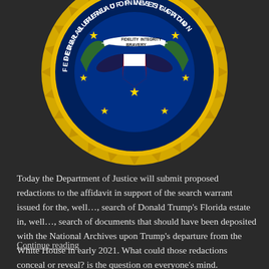[Figure (logo): FBI seal — Federal Bureau of Investigation badge/logo showing circular blue seal with gold laurel border, stars, shield with eagle, and text FIDELITY BRAVERY INTEGRITY, cropped showing lower portion]
Today the Department of Justice will submit proposed redactions to the affidavit in support of the search warrant issued for the, well…, search of Donald Trump's Florida estate in, well…, search of documents that should have been deposited with the National Archives upon Trump's departure from the White House in early 2021. What could those redactions conceal or reveal? is the question on everyone's mind.
Continue reading